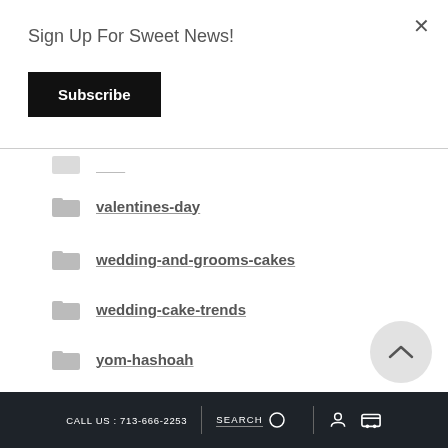Sign Up For Sweet News!
Subscribe
valentines-day
wedding-and-grooms-cakes
wedding-cake-trends
yom-hashoah
CALL US : 713-666-2253  SEARCH